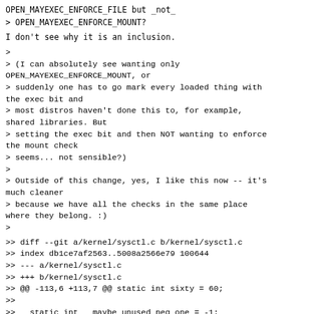OPEN_MAYEXEC_ENFORCE_FILE but _not_
> OPEN_MAYEXEC_ENFORCE_MOUNT?
I don't see why it is an inclusion.
>
> (I can absolutely see wanting only OPEN_MAYEXEC_ENFORCE_MOUNT, or
> suddenly one has to go mark every loaded thing with the exec bit and
> most distros haven't done this to, for example, shared libraries. But
> setting the exec bit and then NOT wanting to enforce the mount check
> seems... not sensible?)
>
> Outside of this change, yes, I like this now -- it's much cleaner
> because we have all the checks in the same place where they belong. :)
>
>> diff --git a/kernel/sysctl.c b/kernel/sysctl.c
>> index db1ce7af2563..5008a2566e79 100644
>> --- a/kernel/sysctl.c
>> +++ b/kernel/sysctl.c
>> @@ -113,6 +113,7 @@ static int sixty = 60;
>>
>>   static int __maybe_unused neg_one = -1;
>>   static int __maybe_unused two = 2;
>> +static int __maybe_unused three = 3;